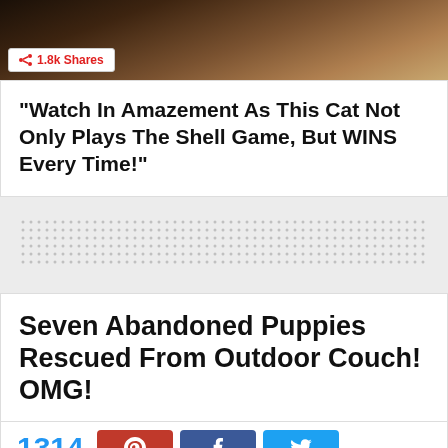[Figure (photo): Dark brownish photo strip showing what appears to be a cat or animal, partial view at top of page]
1.8k Shares
“Watch In Amazement As This Cat Not Only Plays The Shell Game, But WINS Every Time!”
[Figure (other): Dotted/stippled advertisement placeholder area]
Seven Abandoned Puppies Rescued From Outdoor Couch! OMG!
1314
[Figure (other): Social media share buttons: Pinterest, Facebook, Twitter]